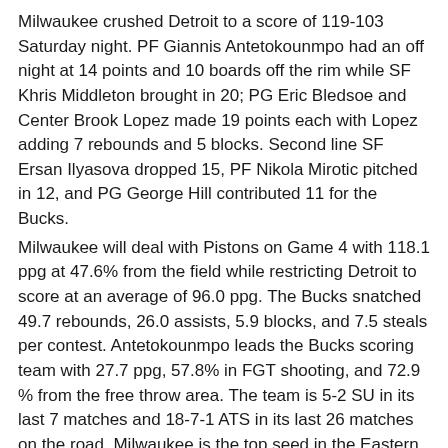Milwaukee crushed Detroit to a score of 119-103 Saturday night. PF Giannis Antetokounmpo had an off night at 14 points and 10 boards off the rim while SF Khris Middleton brought in 20; PG Eric Bledsoe and Center Brook Lopez made 19 points each with Lopez adding 7 rebounds and 5 blocks. Second line SF Ersan Ilyasova dropped 15, PF Nikola Mirotic pitched in 12, and PG George Hill contributed 11 for the Bucks.
Milwaukee will deal with Pistons on Game 4 with 118.1 ppg at 47.6% from the field while restricting Detroit to score at an average of 96.0 ppg. The Bucks snatched 49.7 rebounds, 26.0 assists, 5.9 blocks, and 7.5 steals per contest. Antetokounmpo leads the Bucks scoring team with 27.7 ppg, 57.8% in FGT shooting, and 72.9 % from the free throw area. The team is 5-2 SU in its last 7 matches and 18-7-1 ATS in its last 26 matches on the road. Milwaukee is the top seed in the Eastern Conference quarterfinals leading 3-0 over the Pistons with a 63-22 win/loss tally in the League.